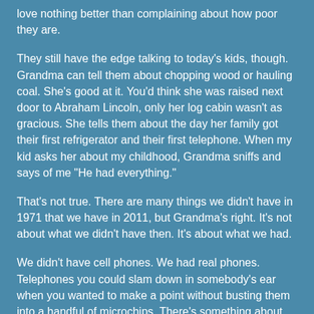love nothing better than complaining about how poor they are.
They still have the edge talking to today's kids, though. Grandma can tell them about chopping wood or hauling coal. She's good at it. You'd think she was raised next door to Abraham Lincoln, only her log cabin wasn't as gracious. She tells them about the day her family got their first refrigerator and their first telephone. When my kid asks her about my childhood, Grandma sniffs and says of me "He had everything."
That's not true. There are many things we didn't have in 1971 that we have in 2011, but Grandma's right. It's not about what we didn't have then. It's about what we had.
We didn't have cell phones. We had real phones. Telephones you could slam down in somebody's ear when you wanted to make a point without busting them into a handful of microchips. There's something about pressing the button on a cell phone when you hang up on a telemarketer that's not nearly as satisfying. Also, when you didn't answer your phone right away, people didn't think there was something wrong. They just figured you weren't home.